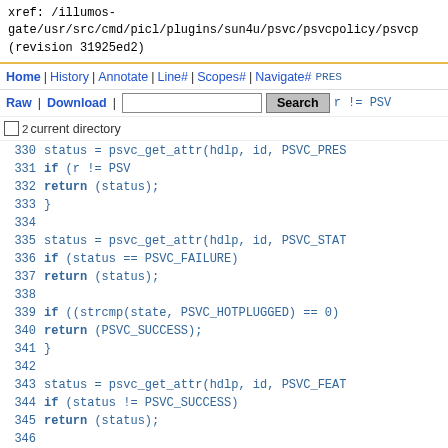xref: /illumos-gate/usr/src/cmd/picl/plugins/sun4u/psvc/psvcpolicy/psvcp (revision 31925ed2)
Home | History | Annotate | Line# | Scopes# | Navigate#
Raw | Download | [search box] Search r != PSV
current directory
330   status = psvc_get_attr(hdlp, id, PSVC_PRES
331   if (r != PSV
332           return (status);
333   }
334
335           status = psvc_get_attr(hdlp, id, PSVC_STAT
336           if (status == PSVC_FAILURE)
337                   return (status);
338
339           if ((strcmp(state, PSVC_HOTPLUGGED) == 0)
340                   return (PSVC_SUCCESS);
341   }
342
343           status = psvc_get_attr(hdlp, id, PSVC_FEAT
344           if (status != PSVC_SUCCESS)
345                   return (status);
346
347           status = psvc_get_attr(hdlp, id, PSVC_LO_W
348           if (status != PSVC_SUCCESS)
349                   return (status);
350
351           status = psvc_get_attr(hdlp, id, PSVC_LO_S
352           if (status != PSVC_SUCCESS)
353                   return (status);
354